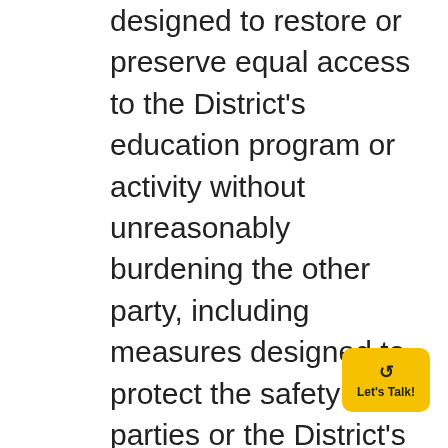designed to restore or preserve equal access to the District's education program or activity without unreasonably burdening the other party, including measures designed to protect the safety of all parties or the District's educational environment, or deter sexual harassment. Supportive measures may include counseling or employee assistance program, extensions of deadlines or other course-related adjustments, modifications of work or class schedules, mutual restrictions on contact between the parties, leaves of absence, increased security and monitoring of certain areas of the District's property, campus escort services, assistance from domestic violence or rape crisis programs, assistance from community health resources, changes in work